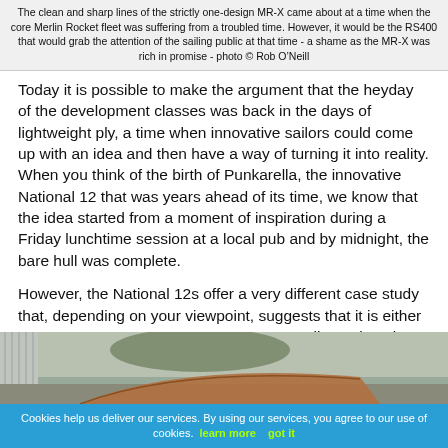The clean and sharp lines of the strictly one-design MR-X came about at a time when the core Merlin Rocket fleet was suffering from a troubled time. However, it would be the RS400 that would grab the attention of the sailing public at that time - a shame as the MR-X was rich in promise - photo © Rob O'Neill
Today it is possible to make the argument that the heyday of the development classes was back in the days of lightweight ply, a time when innovative sailors could come up with an idea and then have a way of turning it into reality. When you think of the birth of Punkarella, the innovative National 12 that was years ahead of its time, we know that the idea started from a moment of inspiration during a Friday lunchtime session at a local pub and by midnight, the bare hull was complete.
However, the National 12s offer a very different case study that, depending on your viewpoint, suggests that it is either a great success story or a great way to spoil an otherwise great class.
[Figure (photo): Partial photo of a wooden sailing boat hull outdoors near trees and a corrugated metal building]
Cookies help us deliver our services. By using our services, you agree to our use of cookies. learn more   got it